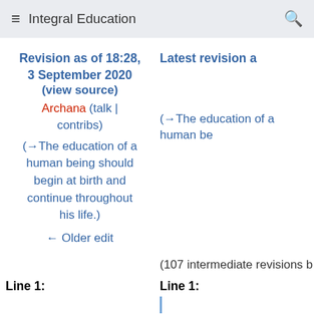Integral Education
Revision as of 18:28, 3 September 2020 (view source) Archana (talk | contribs) (→The education of a human being should begin at birth and continue throughout his life.) ← Older edit
Latest revision a (→The education of a human be
(107 intermediate revisions b
Line 1:
Line 1: